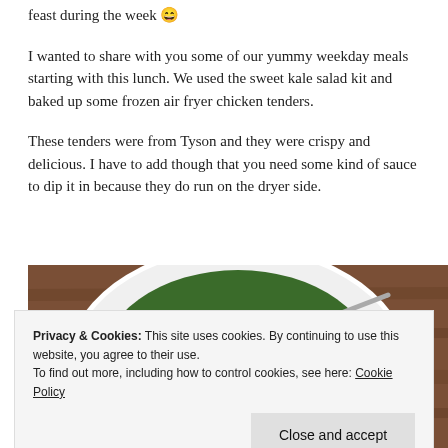feast during the week 😄
I wanted to share with you some of our yummy weekday meals starting with this lunch. We used the sweet kale salad kit and baked up some frozen air fryer chicken tenders.
These tenders were from Tyson and they were crispy and delicious. I have to add though that you need some kind of sauce to dip it in because they do run on the dryer side.
[Figure (photo): Overhead photo of a white bowl filled with kale salad with a spoon, on a wooden surface]
Privacy & Cookies: This site uses cookies. By continuing to use this website, you agree to their use.
To find out more, including how to control cookies, see here: Cookie Policy
Close and accept